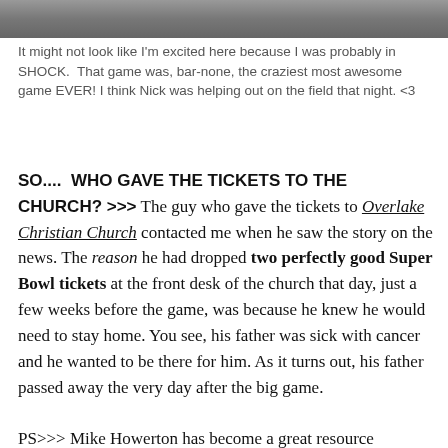[Figure (photo): Partial photo strip at top of page showing people, cut off]
It might not look like I'm excited here because I was probably in SHOCK. That game was, bar-none, the craziest most awesome game EVER! I think Nick was helping out on the field that night. <3
SO....  WHO GAVE THE TICKETS TO THE CHURCH? >>> The guy who gave the tickets to Overlake Christian Church contacted me when he saw the story on the news. The reason he had dropped two perfectly good Super Bowl tickets at the front desk of the church that day, just a few weeks before the game, was because he knew he would need to stay home. You see, his father was sick with cancer and he wanted to be there for him. As it turns out, his father passed away the very day after the big game.
PS>>> Mike Howerton has become a great resource